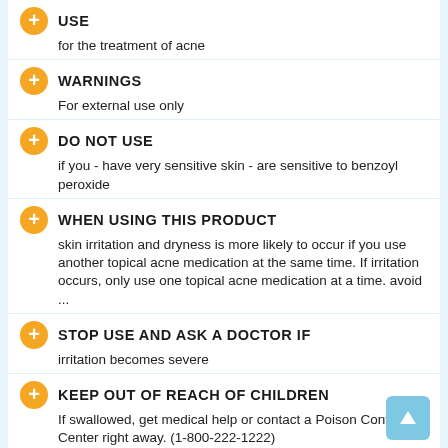USE
for the treatment of acne
WARNINGS
For external use only
DO NOT USE
if you - have very sensitive skin - are sensitive to benzoyl peroxide
WHEN USING THIS PRODUCT
skin irritation and dryness is more likely to occur if you use another topical acne medication at the same time. If irritation occurs, only use one topical acne medication at a time. avoid ...
STOP USE AND ASK A DOCTOR IF
irritation becomes severe
KEEP OUT OF REACH OF CHILDREN
If swallowed, get medical help or contact a Poison Control Center right away. (1-800-222-1222)
DIRECTIONS
Sensitivity Test for a New User. Apply product sparingly to one